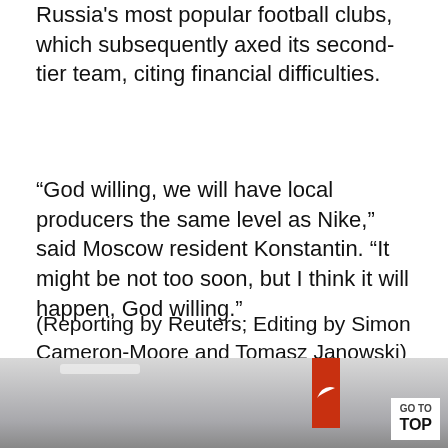Russia's most popular football clubs, which subsequently axed its second-tier team, citing financial difficulties.
“God willing, we will have local producers the same level as Nike,” said Moscow resident Konstantin. “It might be not too soon, but I think it will happen, God willing.”
(Reporting by Reuters; Editing by Simon Cameron-Moore and Tomasz Janowski)
[Figure (photo): Interior photo of what appears to be a sports store or hall with a Nike flag/banner visible on the right side, with a 'GO TO TOP' button overlay in the bottom right corner.]